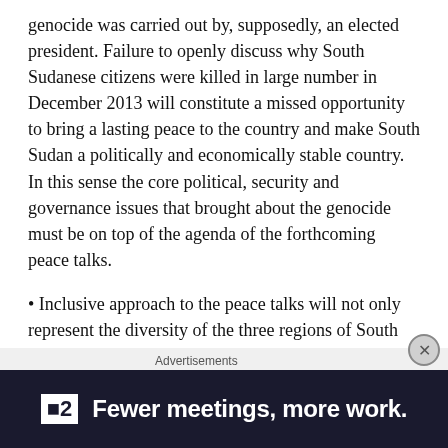genocide was carried out by, supposedly, an elected president. Failure to openly discuss why South Sudanese citizens were killed in large number in December 2013 will constitute a missed opportunity to bring a lasting peace to the country and make South Sudan a politically and economically stable country. In this sense the core political, security and governance issues that brought about the genocide must be on top of the agenda of the forthcoming peace talks.
• Inclusive approach to the peace talks will not only represent the diversity of the three regions of South Sudan, but will bring out the actual underlying socio-political problems that started afflicting the country from before its independence.
Advertisements
[Figure (other): Advertisement banner with dark background showing a square icon with '2' and text 'Fewer meetings, more work.']